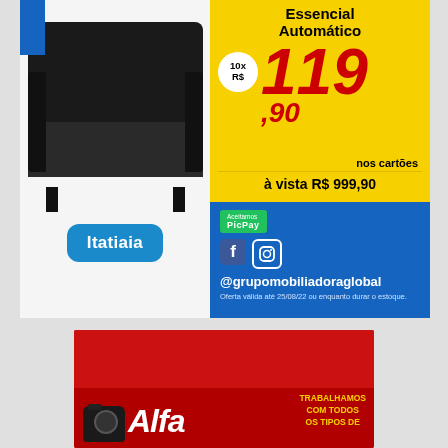[Figure (advertisement): Furniture store ad for Itatiaia sofa - Essencial Automático. Price: 10x R$119,90 nos cartões, à vista R$999,90. Social media handles @grupomobiliadoraglobal, Aceitamos PicPay. Offer valid until 25/08/22.]
[Figure (advertisement): Red ad for Alfa store/brand with camera product image. Text: TRABALHAMOS COM TODOS OS TIPOS DE]